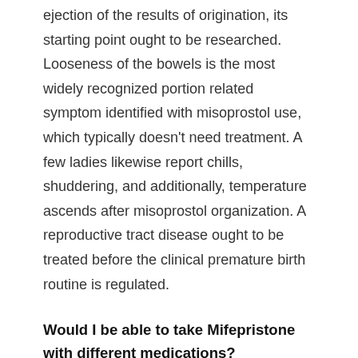ejection of the results of origination, its starting point ought to be researched. Looseness of the bowels is the most widely recognized portion related symptom identified with misoprostol use, which typically doesn't need treatment. A few ladies likewise report chills, shuddering, and additionally, temperature ascends after misoprostol organization. A reproductive tract disease ought to be treated before the clinical premature birth routine is regulated.
Would I be able to take Mifepristone with different medications?
Once in a while, tranquilizes are undependable when you take them with certain different